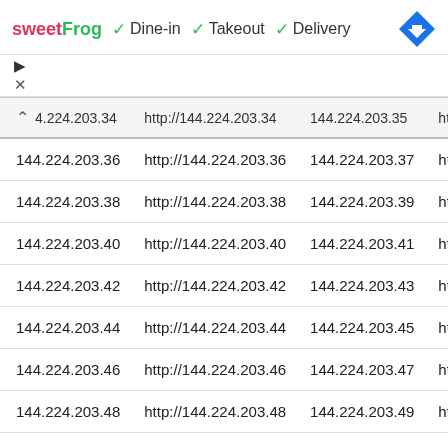[Figure (screenshot): sweetFrog logo with Dine-in, Takeout, Delivery checkmarks and a blue navigation diamond icon]
| 4.224.203.34 | http://144.224.203.34 | 144.224.203.35 | ht |
| --- | --- | --- | --- |
| 144.224.203.36 | http://144.224.203.36 | 144.224.203.37 | ht |
| 144.224.203.38 | http://144.224.203.38 | 144.224.203.39 | ht |
| 144.224.203.40 | http://144.224.203.40 | 144.224.203.41 | ht |
| 144.224.203.42 | http://144.224.203.42 | 144.224.203.43 | ht |
| 144.224.203.44 | http://144.224.203.44 | 144.224.203.45 | ht |
| 144.224.203.46 | http://144.224.203.46 | 144.224.203.47 | ht |
| 144.224.203.48 | http://144.224.203.48 | 144.224.203.49 | ht |
| 144.224.203.50 | http://144.224.203.50 | 144.224.203.51 | ht |
| 144.224.203.52 | http://144.224.203.52 | 144.224.203.53 | ht |